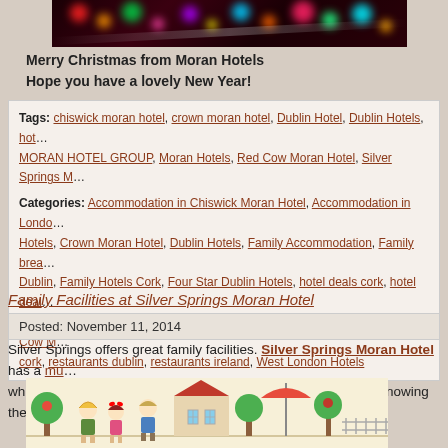[Figure (photo): Christmas bokeh lights photo — colorful blurred circles of light on dark red background]
Merry Christmas from Moran Hotels
Hope you have a lovely New Year!
Tags: chiswick moran hotel, crown moran hotel, Dublin Hotel, Dublin Hotels, hot..., MORAN HOTEL GROUP, Moran Hotels, Red Cow Moran Hotel, Silver Springs M...
Categories: Accommodation in Chiswick Moran Hotel, Accommodation in Londo..., Hotels, Crown Moran Hotel, Dublin Hotels, Family Accommodation, Family brea..., Dublin, Family Hotels Cork, Four Star Dublin Hotels, hotel deals cork, hotel deal..., Hotels in Cork City, Hotels in London, London Hotels, Moran Hotels, Red Cow M..., cork, restaurants dublin, restaurants ireland, West London Hotels
Family Facilities at Silver Springs Moran Hotel
Posted: November 11, 2014
Silver Springs offers great family facilities. Silver Springs Moran Hotel has a mu... which offers kids a great area to play in and parents can relax knowing their child...
[Figure (illustration): Cartoon illustration of children playing outside a house with trees]